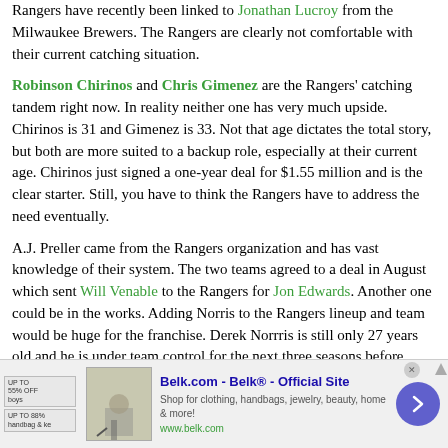Rangers have recently been linked to Jonathan Lucroy from the Milwaukee Brewers. The Rangers are clearly not comfortable with their current catching situation.
Robinson Chirinos and Chris Gimenez are the Rangers' catching tandem right now. In reality neither one has very much upside. Chirinos is 31 and Gimenez is 33. Not that age dictates the total story, but both are more suited to a backup role, especially at their current age. Chirinos just signed a one-year deal for $1.55 million and is the clear starter. Still, you have to think the Rangers have to address the need eventually.
A.J. Preller came from the Rangers organization and has vast knowledge of their system. The two teams agreed to a deal in August which sent Will Venable to the Rangers for Jon Edwards. Another one could be in the works. Adding Norris to the Rangers lineup and team would be huge for the franchise. Derek Norrris is still only 27 years old and he is under team control for the next three seasons before being eligible for free agency in 2019. Norris
[Figure (other): Advertisement banner for Belk.com - Belk Official Site. Shows badges for discounts, a product image, ad title, description text 'Shop for clothing, handbags, jewelry, beauty, home & more!', URL www.belk.com, close button, and navigation arrow.]